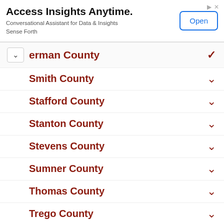[Figure (other): Advertisement banner: 'Access Insights Anytime. Conversational Assistant for Data & Insights Sense Forth' with an Open button]
erman County
Smith County
Stafford County
Stanton County
Stevens County
Sumner County
Thomas County
Trego County
Wabaunsee County
Wallace County